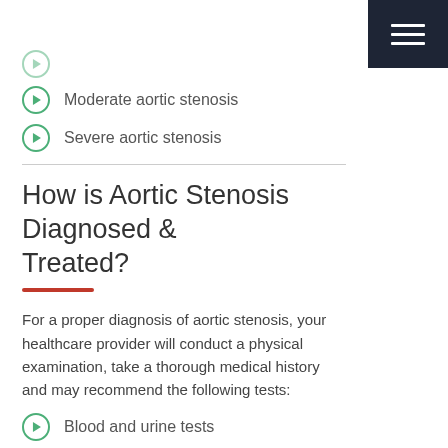[Figure (other): Navigation menu icon (hamburger menu) on dark navy background in top right corner]
Moderate aortic stenosis
Severe aortic stenosis
How is Aortic Stenosis Diagnosed & Treated?
For a proper diagnosis of aortic stenosis, your healthcare provider will conduct a physical examination, take a thorough medical history and may recommend the following tests:
Blood and urine tests
Echocardiogram
MRI or CT scan
Electrocardiogram
Cardiac stress test